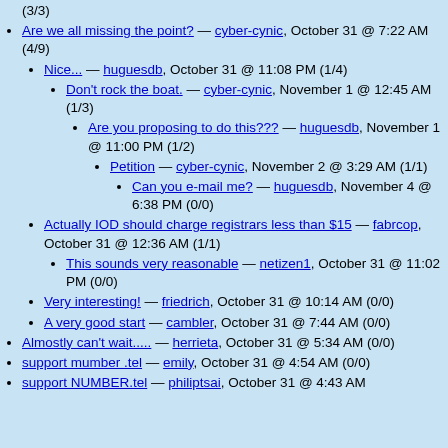(3/3) — top partial
Are we all missing the point? — cyber-cynic, October 31 @ 7:22 AM (4/9)
Nice... — huguesdb, October 31 @ 11:08 PM (1/4)
Don't rock the boat. — cyber-cynic, November 1 @ 12:45 AM (1/3)
Are you proposing to do this??? — huguesdb, November 1 @ 11:00 PM (1/2)
Petition — cyber-cynic, November 2 @ 3:29 AM (1/1)
Can you e-mail me? — huguesdb, November 4 @ 6:38 PM (0/0)
Actually IOD should charge registrars less than $15 — fabrcop, October 31 @ 12:36 AM (1/1)
This sounds very reasonable — netizen1, October 31 @ 11:02 PM (0/0)
Very interesting! — friedrich, October 31 @ 10:14 AM (0/0)
A very good start — cambler, October 31 @ 7:44 AM (0/0)
Almostly can't wait..... — herrieta, October 31 @ 5:34 AM (0/0)
support mumber .tel — emily, October 31 @ 4:54 AM (0/0)
support NUMBER.tel — philiptsai, October 31 @ 4:43 AM (0/0)